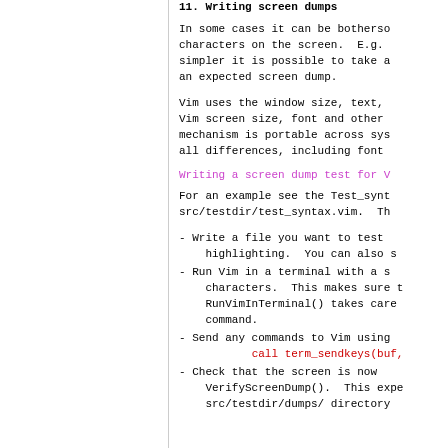In some cases it can be bothersome to match characters on the screen.  E.g. simpler it is possible to take a an expected screen dump.
Vim uses the window size, text, Vim screen size, font and other mechanism is portable across sys all differences, including font
Writing a screen dump test for V
For an example see the Test_synt src/testdir/test_syntax.vim.  Th
- Write a file you want to test highlighting.  You can also s
- Run Vim in a terminal with a s characters.  This makes sure t RunVimInTerminal() takes care command.
- Send any commands to Vim using call term_sendkeys(buf,
- Check that the screen is now VerifyScreenDump().  This expe src/testdir/dumps/ directory